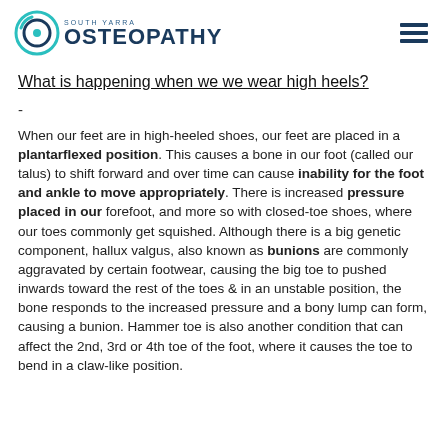SOUTH YARRA OSTEOPATHY
What is happening when we we wear high heels?
-
When our feet are in high-heeled shoes, our feet are placed in a plantarflexed position. This causes a bone in our foot (called our talus) to shift forward and over time can cause inability for the foot and ankle to move appropriately. There is increased pressure placed in our forefoot, and more so with closed-toe shoes, where our toes commonly get squished. Although there is a big genetic component, hallux valgus, also known as bunions are commonly aggravated by certain footwear, causing the big toe to pushed inwards toward the rest of the toes & in an unstable position, the bone responds to the increased pressure and a bony lump can form, causing a bunion. Hammer toe is also another condition that can affect the 2nd, 3rd or 4th toe of the foot, where it causes the toe to bend in a claw-like position.